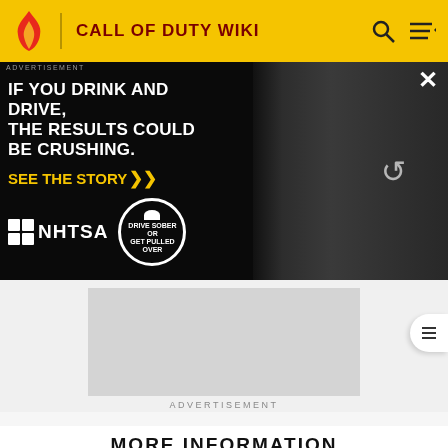CALL OF DUTY WIKI
[Figure (screenshot): NHTSA advertisement: IF YOU DRINK AND DRIVE, THE RESULTS COULD BE CRUSHING. SEE THE STORY. NHTSA DRIVE SOBER OR GET PULLED OVER]
[Figure (other): Secondary advertisement placeholder (grey box)]
ADVERTISEMENT
MORE INFORMATION
Top Contributors